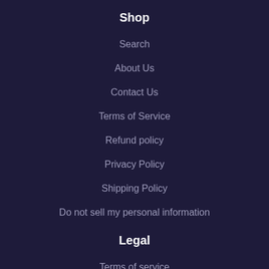Shop
Search
About Us
Contact Us
Terms of Service
Refund policy
Privacy Policy
Shipping Policy
Do not sell my personal information
Legal
Terms of service